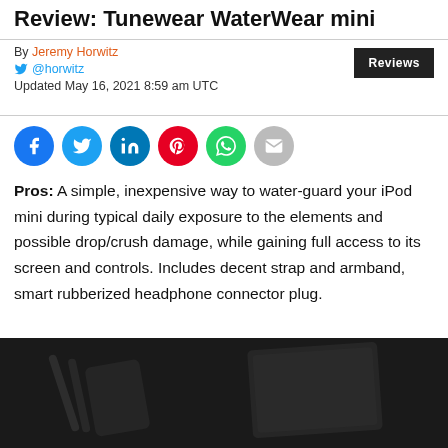Review: Tunewear WaterWear mini
By Jeremy Horwitz
@horwitz
Updated May 16, 2021 8:59 am UTC
[Figure (infographic): Social sharing icons: Facebook, Twitter, LinkedIn, Pinterest, WhatsApp, Email]
Pros: A simple, inexpensive way to water-guard your iPod mini during typical daily exposure to the elements and possible drop/crush damage, while gaining full access to its screen and controls. Includes decent strap and armband, smart rubberized headphone connector plug.
[Figure (photo): Dark product photo showing Tunewear WaterWear mini case components on dark background]